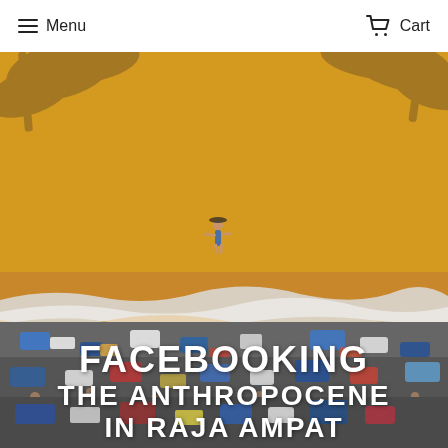Menu  Cart
[Figure (photo): Aerial book cover image showing a tropical beach from above. The upper half shows golden-orange sandy beach with tree shadows at the top corners and a lone person walking. The lower half shows a large pile of ocean plastic waste/garbage washing up on the shore, with many people visible among the debris.]
FACEBOOKING THE ANTHROPOCENE IN RAJA AMPAT